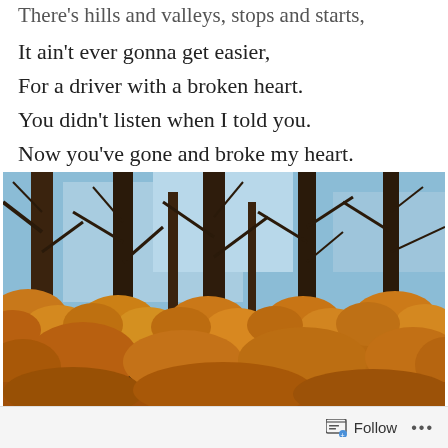There's hills and valleys, stops and starts,
It ain't ever gonna get easier,
For a driver with a broken heart.
You didn't listen when I told you.
Now you've gone and broke my heart.
[Figure (photo): Autumn trees with orange and brown foliage against a blue sky, viewed from below looking up at bare dark branches and colorful leaves.]
Follow ...